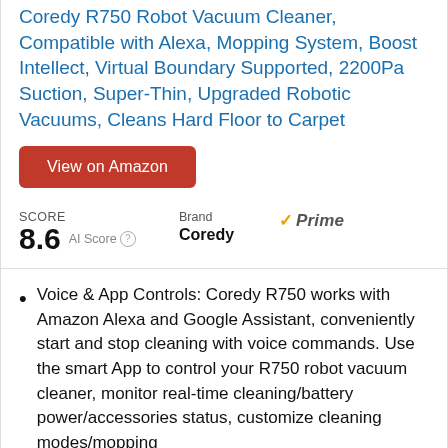Coredy R750 Robot Vacuum Cleaner, Compatible with Alexa, Mopping System, Boost Intellect, Virtual Boundary Supported, 2200Pa Suction, Super-Thin, Upgraded Robotic Vacuums, Cleans Hard Floor to Carpet
View on Amazon
SCORE 8.6 AI Score | Brand Prime Coredy
Voice & App Controls: Coredy R750 works with Amazon Alexa and Google Assistant, conveniently start and stop cleaning with voice commands. Use the smart App to control your R750 robot vacuum cleaner, monitor real-time cleaning/battery power/accessories status, customize cleaning modes/mopping